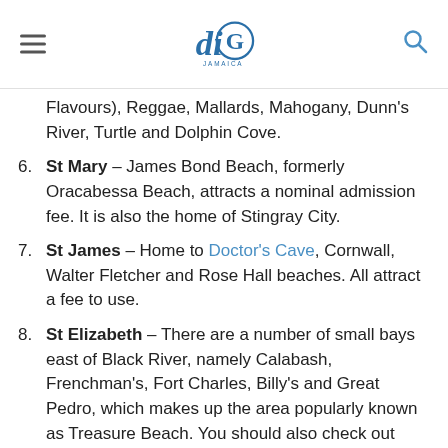diG JAMAICA
5. (continued) Flavours), Reggae, Mallards, Mahogany, Dunn's River, Turtle and Dolphin Cove.
6. St Mary – James Bond Beach, formerly Oracabessa Beach, attracts a nominal admission fee. It is also the home of Stingray City.
7. St James – Home to Doctor's Cave, Cornwall, Walter Fletcher and Rose Hall beaches. All attract a fee to use.
8. St Elizabeth – There are a number of small bays east of Black River, namely Calabash, Frenchman's, Fort Charles, Billy's and Great Pedro, which makes up the area popularly known as Treasure Beach. You should also check out Font Hill Beach Park.
9. Manchester – Alligator Pond is a popular, black sand fishing beach. It's the home to the the very popular and Little Ochi Seafood Restaurant.